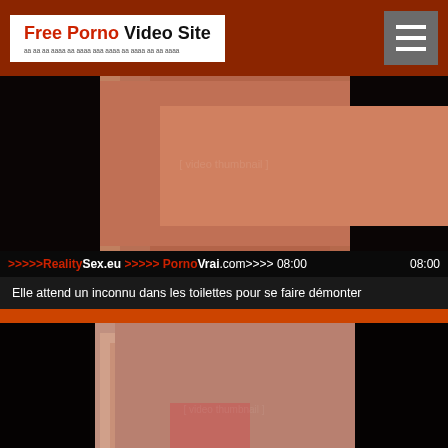Free Porno Video Site
[Figure (photo): Video thumbnail showing two people on a bed with pink bedding]
>>>>>RealitySex.eu >>>>> PornoVrai.com>>>> 08:00
Elle attend un inconnu dans les toilettes pour se faire démonter
[Figure (photo): Video thumbnail showing a blonde woman performing oral sex]